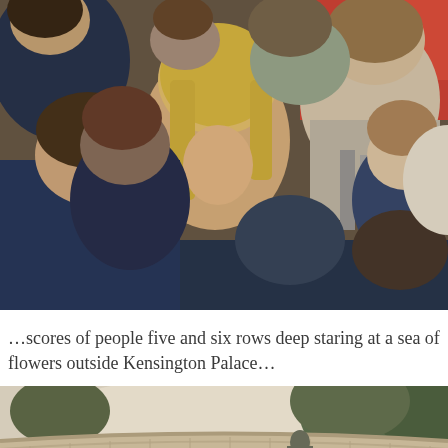[Figure (photo): A crowd of people photographed from above/behind, showing the backs and sides of heads. Multiple people visible including a woman with long blonde hair in the center. Colors include dark navy blues, reds, and skin tones.]
…scores of people five and six rows deep staring at a sea of flowers outside Kensington Palace…
[Figure (photo): A curved stone wall or colonnade with a bronze statue of a robed/caped figure standing in front of it. Trees visible in the background above the wall. The setting appears to be Kensington Palace grounds.]